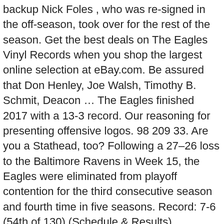backup Nick Foles , who was re-signed in the off-season, took over for the rest of the season. Get the best deals on The Eagles Vinyl Records when you shop the largest online selection at eBay.com. Be assured that Don Henley, Joe Walsh, Timothy B. Schmit, Deacon … The Eagles finished 2017 with a 13-3 record. Our reasoning for presenting offensive logos. 98 209 33. Are you a Stathead, too? Following a 27–26 loss to the Baltimore Ravens in Week 15, the Eagles were eliminated from playoff contention for the third consecutive season and fourth time in five seasons. Record: 7-6 (54th of 130) (Schedule & Results) Conference: ACC (Atlantic Division) Conference Record: 4-4 Coach: Steve Addazio (7-6) Points For: 334 Points/G: 25.7 (85th of 130) Points Against: 297 Opp Pts/G: 22.8 (37th of 130) SRS: 9.39 (29th of 130) . Philadelphia Eagles Eagles. By Brandon Lee Gowton @BrandonGowton Apr 20, 2017, 8:39pm EDT / new. FIRST